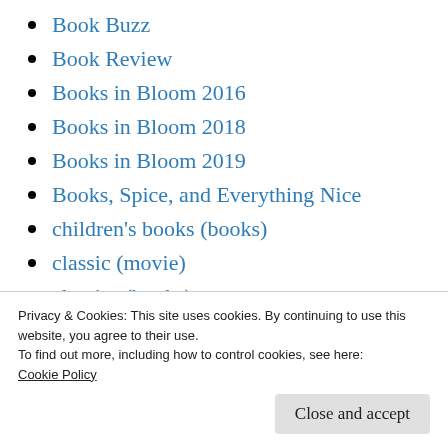Book Buzz
Book Review
Books in Bloom 2016
Books in Bloom 2018
Books in Bloom 2019
Books, Spice, and Everything Nice
children's books (books)
classic (movie)
classics (books)
comedy (books)
comedy (movie)
Privacy & Cookies: This site uses cookies. By continuing to use this website, you agree to their use.
To find out more, including how to control cookies, see here:
Cookie Policy
Close and accept
crime (movie)